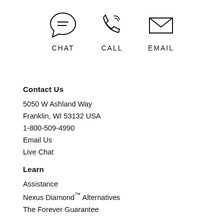[Figure (infographic): Three icons in a row: chat bubble with lines, phone/call handset, and envelope/email icon, each labeled below with CHAT, CALL, EMAIL respectively]
Contact Us
5050 W Ashland Way
Franklin, WI 53132 USA
1-800-509-4990
Email Us
Live Chat
Learn
Assistance
Nexus Diamond™ Alternatives
The Forever Guarantee